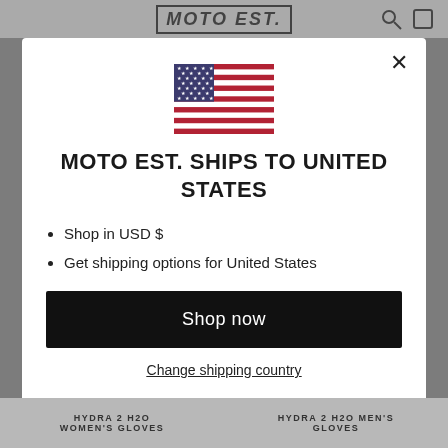MOTO EST.
[Figure (screenshot): Modal dialog on an e-commerce website showing the US flag, shipping destination info, and a Shop now button]
MOTO EST. SHIPS TO UNITED STATES
Shop in USD $
Get shipping options for United States
Shop now
Change shipping country
HYDRA 2 H2O WOMEN'S GLOVES
HYDRA 2 H2O MEN'S GLOVES